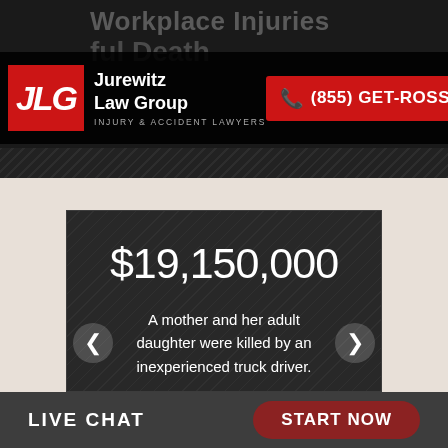[Figure (screenshot): Jurewitz Law Group website header with logo, phone number (855) GET-ROSS, and navigation]
$19,150,000
A mother and her adult daughter were killed by an inexperienced truck driver.
See All Case Results
LIVE CHAT  START NOW